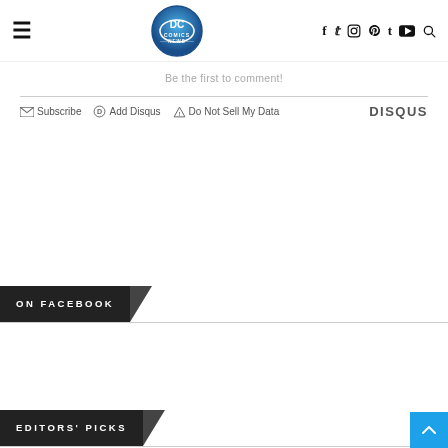DC Comics News — navigation header with hamburger menu, logo, social icons (f, twitter, instagram, pinterest, tumblr, youtube) and search
Be the first to comment!
Subscribe  Add Disqus  Do Not Sell My Data  DISQUS
ON FACEBOOK
EDITORS' PICKS